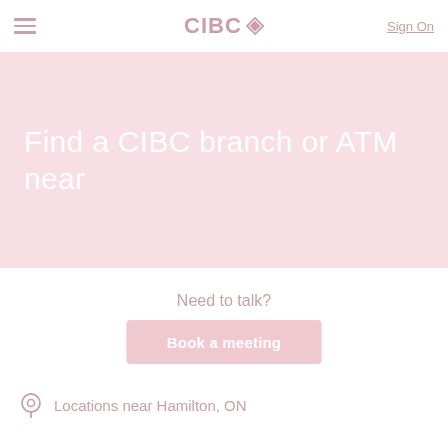CIBC — Sign On
Find a CIBC branch or ATM near
Need to talk?
Book a meeting
Locations near Hamilton, ON